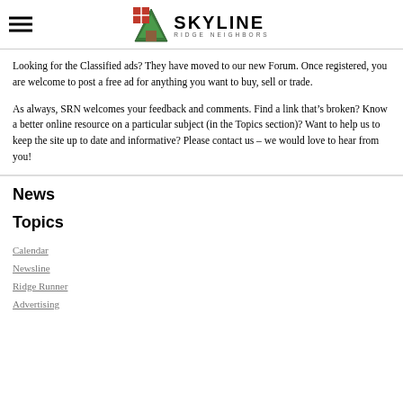Skyline Ridge Neighbors
Looking for the Classified ads? They have moved to our new Forum. Once registered, you are welcome to post a free ad for anything you want to buy, sell or trade.
As always, SRN welcomes your feedback and comments. Find a link that’s broken? Know a better online resource on a particular subject (in the Topics section)? Want to help us to keep the site up to date and informative? Please contact us – we would love to hear from you!
News
Topics
Calendar
Newsline
Ridge Runner
Advertising